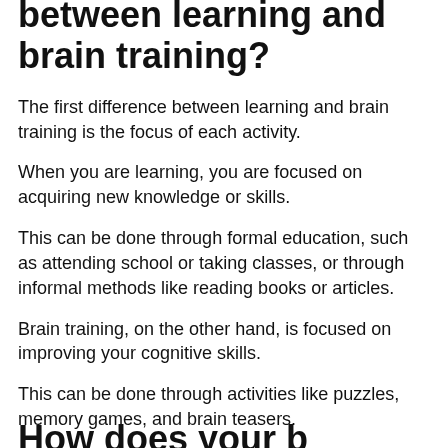between learning and brain training?
The first difference between learning and brain training is the focus of each activity.
When you are learning, you are focused on acquiring new knowledge or skills.
This can be done through formal education, such as attending school or taking classes, or through informal methods like reading books or articles.
Brain training, on the other hand, is focused on improving your cognitive skills.
This can be done through activities like puzzles, memory games, and brain teasers.
How does your b